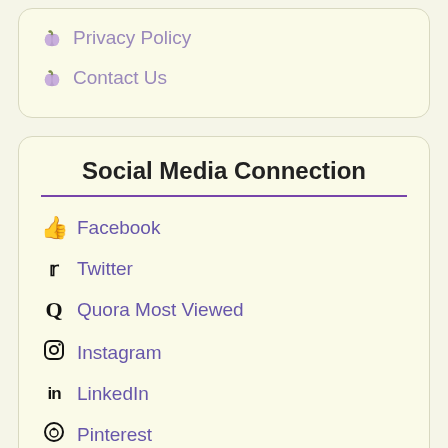Privacy Policy
Contact Us
Social Media Connection
Facebook
Twitter
Quora Most Viewed
Instagram
LinkedIn
Pinterest